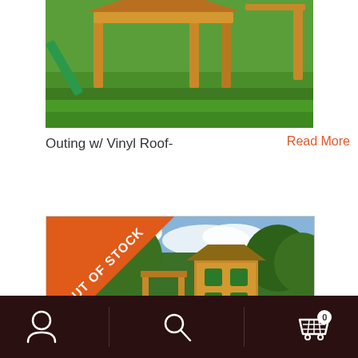[Figure (photo): A children's outdoor wooden playground set with a green slide on a grass lawn, partially cropped at top]
Outing w/ Vinyl Roof-
Read More
[Figure (photo): Outdoor wooden playground/swing set with treehouse structure, blue sky and trees in background, with an orange 'OUT OF STOCK' diagonal ribbon banner in top-left corner]
Navigation bar with user icon, search icon, and cart icon (0 items)